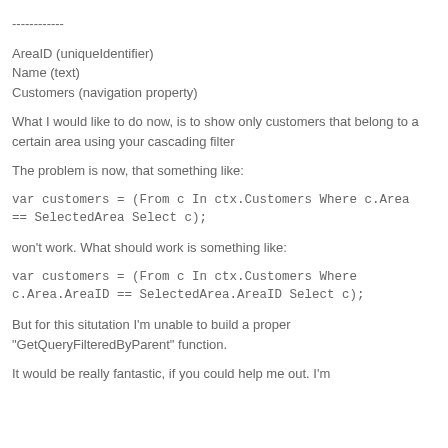------------
AreaID (uniqueIdentifier)
Name (text)
Customers (navigation property)
What I would like to do now, is to show only customers that belong to a certain area using your cascading filter
The problem is now, that something like:
won't work. What should work is something like:
But for this situtation I'm unable to build a proper "GetQueryFilteredByParent" function.
It would be really fantastic, if you could help me out. I'm